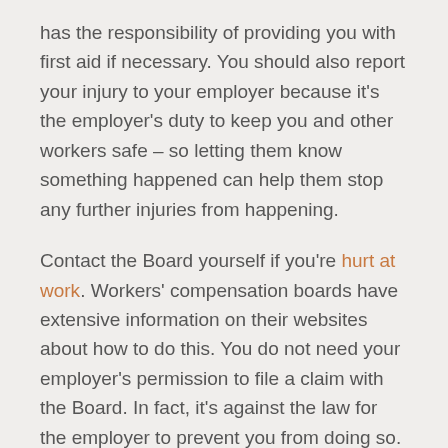has the responsibility of providing you with first aid if necessary. You should also report your injury to your employer because it's the employer's duty to keep you and other workers safe – so letting them know something happened can help them stop any further injuries from happening.
Contact the Board yourself if you're hurt at work. Workers' compensation boards have extensive information on their websites about how to do this. You do not need your employer's permission to file a claim with the Board. In fact, it's against the law for the employer to prevent you from doing so.
2) Make your claim as soon